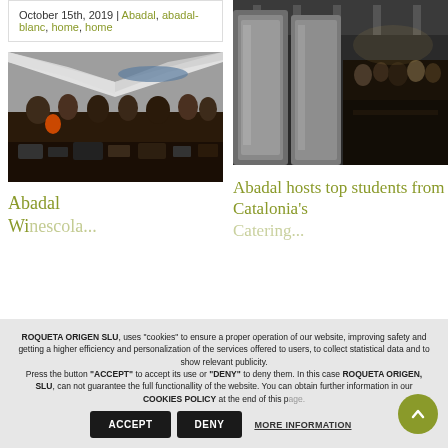October 15th, 2019 | Abadal, abadal-blanc, home, home
[Figure (photo): Outdoor market or wine fair with white tents, people gathered around tables, urban/industrial setting]
Abadal Wi...
[Figure (photo): Interior of a winery with large stainless steel tanks, people walking around in dim lighting]
Abadal hosts top students from Catalonia's Catering...
ROQUETA ORIGEN SLU, uses "cookies" to ensure a proper operation of our website, improving safety and getting a higher efficiency and personalization of the services offered to users, to collect statistical data and to show relevant publicity. Press the button "ACCEPT" to accept its use or "DENY" to deny them. In this case ROQUETA ORIGEN, SLU, can not guarantee the full functionallity of the website. You can obtain further information in our COOKIES POLICY at the end of this page.